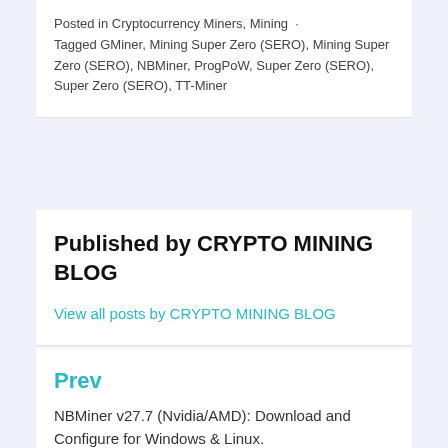Posted in Cryptocurrency Miners, Mining · Tagged GMiner, Mining Super Zero (SERO), Mining Super Zero (SERO), NBMiner, ProgPoW, Super Zero (SERO), Super Zero (SERO), TT-Miner
Published by CRYPTO MINING BLOG
View all posts by CRYPTO MINING BLOG
Prev
NBMiner v27.7 (Nvidia/AMD): Download and Configure for Windows & Linux.
Next